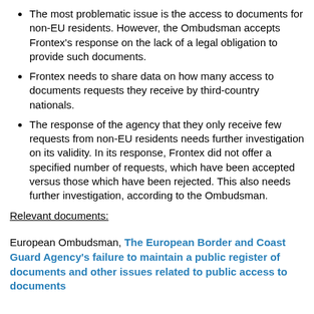The most problematic issue is the access to documents for non-EU residents. However, the Ombudsman accepts Frontex's response on the lack of a legal obligation to provide such documents.
Frontex needs to share data on how many access to documents requests they receive by third-country nationals.
The response of the agency that they only receive few requests from non-EU residents needs further investigation on its validity. In its response, Frontex did not offer a specified number of requests, which have been accepted versus those which have been rejected. This also needs further investigation, according to the Ombudsman.
Relevant documents:
European Ombudsman, The European Border and Coast Guard Agency's failure to maintain a public register of documents and other issues related to public access to documents